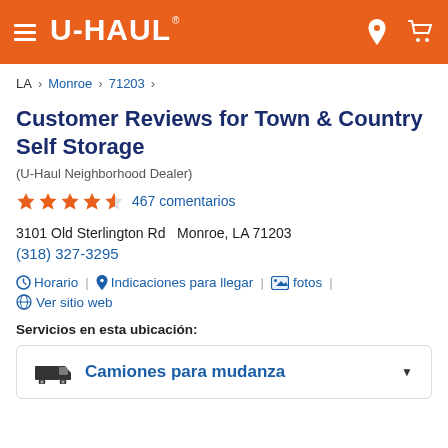U-HAUL header navigation
LA > Monroe > 71203 >
Customer Reviews for Town & Country Self Storage
(U-Haul Neighborhood Dealer)
4.5 stars — 467 comentarios
3101 Old Sterlington Rd   Monroe, LA 71203
(318) 327-3295
Horario | Indicaciones para llegar | fotos | Ver sitio web
Servicios en esta ubicación:
Camiones para mudanza